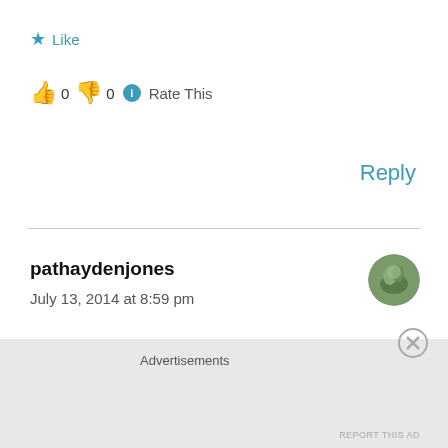★ Like
👍 0 👎 0 ℹ Rate This
Reply
pathaydenjones
July 13, 2014 at 8:59 pm
Steven I hope you are right as I am certainly breaking some of the 'rules.'
Advertisements
REPORT THIS AD